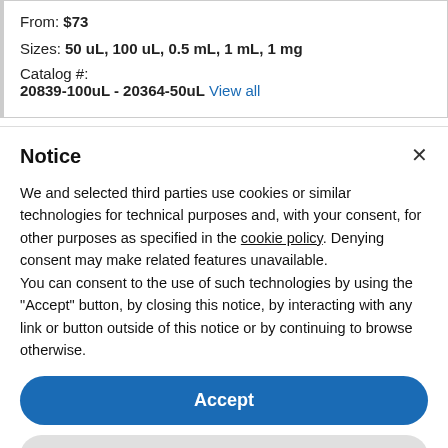From: $73
Sizes: 50 uL, 100 uL, 0.5 mL, 1 mL, 1 mg
Catalog #: 20839-100uL - 20364-50uL View all
Notice
We and selected third parties use cookies or similar technologies for technical purposes and, with your consent, for other purposes as specified in the cookie policy. Denying consent may make related features unavailable.
You can consent to the use of such technologies by using the "Accept" button, by closing this notice, by interacting with any link or button outside of this notice or by continuing to browse otherwise.
Accept
Learn more and customize